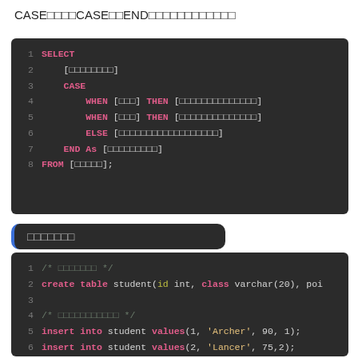CASE文はCASE式とENDの間に条件を記述します。
[Figure (screenshot): SQL code block showing SELECT with CASE WHEN THEN ELSE END AS FROM syntax with placeholder Japanese text in brackets]
具体例
[Figure (screenshot): SQL code block showing create table student and insert into student values statements]